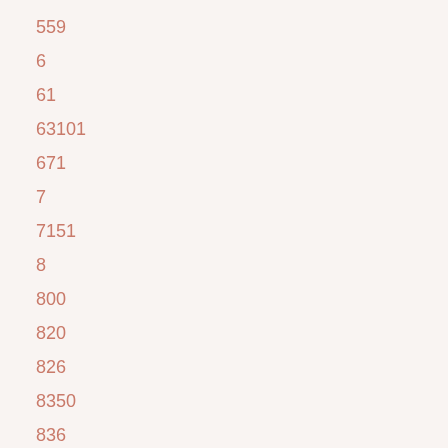559
6
61
63101
671
7
7151
8
800
820
826
8350
836
9